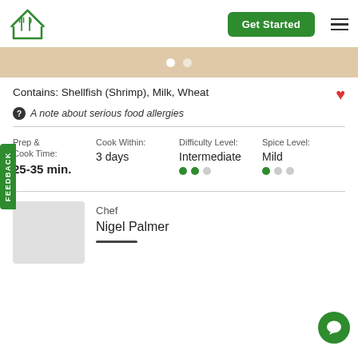Get Started
Contains: Shellfish (Shrimp), Milk, Wheat
A note about serious food allergies
Prep & Cook Time: 25-35 min.
Cook Within: 3 days
Difficulty Level: Intermediate
Spice Level: Mild
Chef
Nigel Palmer